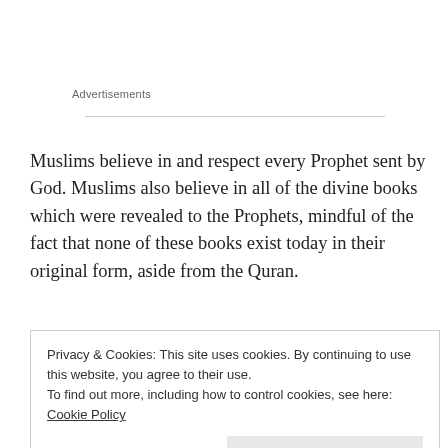Advertisements
Muslims believe in and respect every Prophet sent by God. Muslims also believe in all of the divine books which were revealed to the Prophets, mindful of the fact that none of these books exist today in their original form, aside from the Quran.
“It is He (Allah) Who has sent down the Book (the Quran)
Privacy & Cookies: This site uses cookies. By continuing to use this website, you agree to their use.
To find out more, including how to control cookies, see here: Cookie Policy
Close and accept
CHARACTERISTICS OF PROPHETS